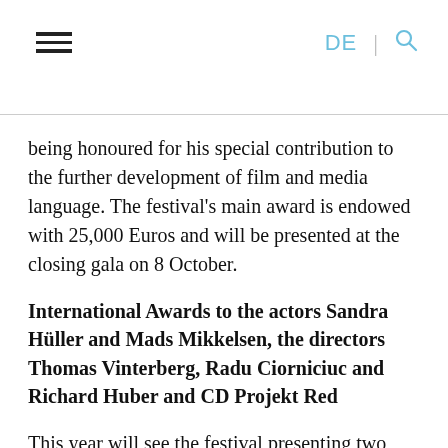≡  DE | 🔍
being honoured for his special contribution to the further development of film and media language. The festival's main award is endowed with 25,000 Euros and will be presented at the closing gala on 8 October.
International Awards to the actors Sandra Hüller and Mads Mikkelsen, the directors Thomas Vinterberg, Radu Ciorniciuc and Richard Huber and CD Projekt Red
This year will see the festival presenting two awards in recognition of outstanding acting achievements. Sandra Hüller will be presented with the International Actress Award. Hüller received many prizes for her role in Toni